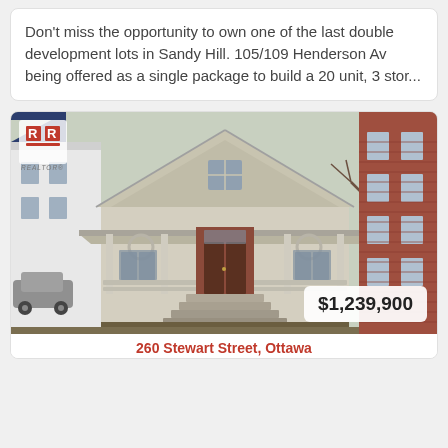Don't miss the opportunity to own one of the last double development lots in Sandy Hill. 105/109 Henderson Av being offered as a single package to build a 20 unit, 3 stor...
[Figure (photo): Exterior photo of a Victorian-style house at 260 Stewart Street, Ottawa, with a covered front porch, brick accents, bare trees, and adjacent brick apartment building. Price badge shows $1,239,900. REALTOR logo in top-left corner.]
260 Stewart Street, Ottawa